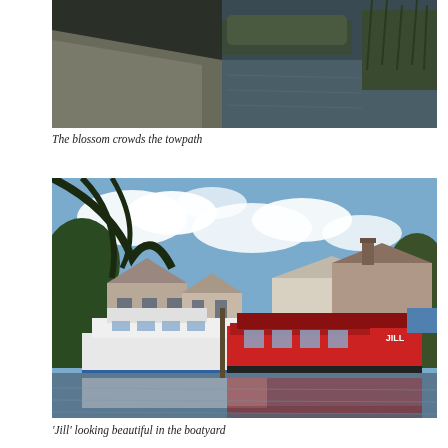[Figure (photo): A canal towpath scene with water on the right and a concrete path on the left, with reeds visible in the background]
The blossom crowds the towpath
[Figure (photo): A boatyard scene showing a red narrowboat named 'Jill' moored alongside a white motor cruiser, with buildings behind and reflections in the calm water]
'Jill' looking beautiful in the boatyard